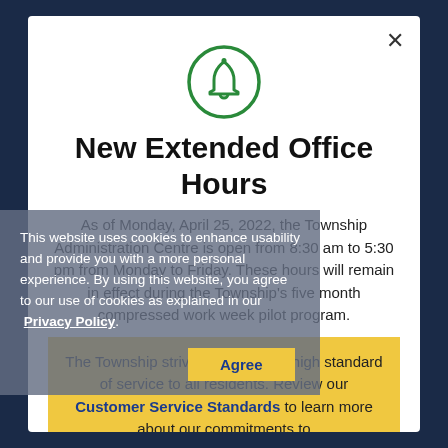[Figure (illustration): Green circle with bell icon (notification/alert symbol)]
New Extended Office Hours
As of Monday, April 25, 2022, the Township Administration Centre is open from 8:30 am to 5:30 pm from Monday to Friday. These hours will remain in effect during the Township's five month compressed work week pilot program.
The Township strives to provide a high standard of service to all residents. Review our Customer Service Standards to learn more about our commitments to
This website uses cookies to enhance usability and provide you with a more personal experience. By using this website, you agree to our use of cookies as explained in our Privacy Policy.